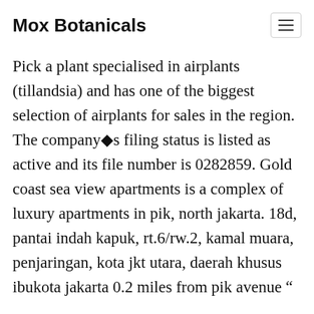Mox Botanicals
Pick a plant specialised in airplants (tillandsia) and has one of the biggest selection of airplants for sales in the region. The company�s filing status is listed as active and its file number is 0282859. Gold coast sea view apartments is a complex of luxury apartments in pik, north jakarta. 18d, pantai indah kapuk, rt.6/rw.2, kamal muara, penjaringan, kota jkt utara, daerah khusus ibukota jakarta 0.2 miles from pik avenue “